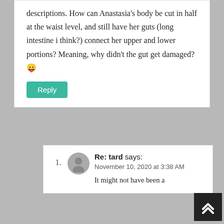descriptions. How can Anastasia's body be cut in half at the waist level, and still have her guts (long intestine i think?) connect her upper and lower portions? Meaning, why didn't the gut get damaged? 😛
Reply
1. Re: tard says:
November 10, 2020 at 3:38 AM
It might not have been a